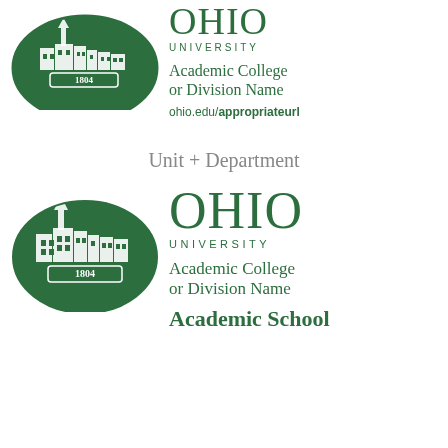[Figure (logo): Ohio University logo (top, partially cropped) with building illustration and 1804 banner in dark green oval]
OHIO UNIVERSITY
Academic College or Division Name
ohio.edu/appropriateurl
Unit + Department
[Figure (logo): Ohio University logo with building illustration and 1804 banner in dark green oval]
OHIO UNIVERSITY
Academic College or Division Name
Academic School